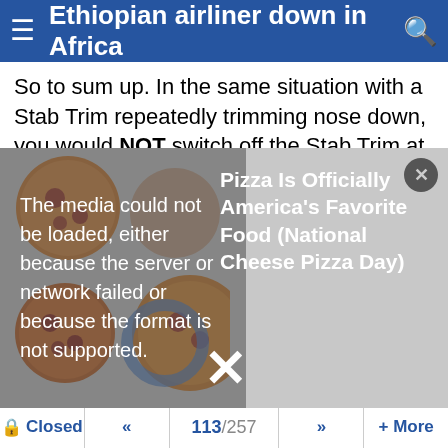Ethiopian airliner down in Africa
So to sum up. In the same situation with a Stab Trim repeatedly trimming nose down, you would NOT switch off the Stab Trim at the same time it's known as the MAS...
[Figure (screenshot): Ad/video overlay showing pizza images on left side with media error message: 'The media could not be loaded, either because the server or network failed or because the format is not supported.' Right side shows text: 'Pizza Is Officially America's Favorite Food (National Cheese Pizza Day)'. A large white X close button appears at the bottom center, and a small circular close button in top right.]
Quote:
Originally Posted by ivor toolbox
Yea, so that's going to work, so at point of rotation, we get a vane split, and MCAS will still do its stuff while the crew are fumbling for the checklist.
But hey, we're Boeing and we've given you guys a little light.
From what others before have described, its still a sub-
Closed  «  113/257  »  + More